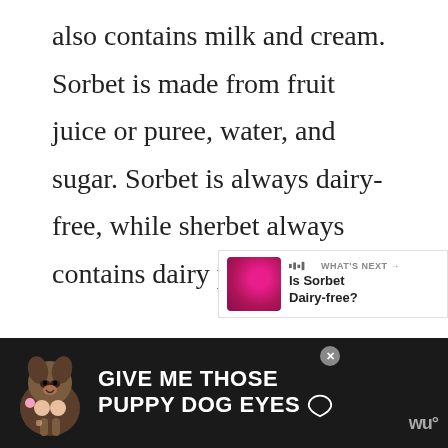also contains milk and cream. Sorbet is made from fruit juice or puree, water, and sugar. Sorbet is always dairy-free, while sherbet always contains dairy products.
[Figure (screenshot): UI screenshot showing a gray content area with a teal heart/favorite button, a light gray share button with share icon, a 'WHAT'S NEXT' panel showing 'Is Sorbet Dairy-free?' with a thumbnail, and a dark advertisement banner reading 'GIVE ME THOSE PUPPY DOG EYES' with a dog photo.]